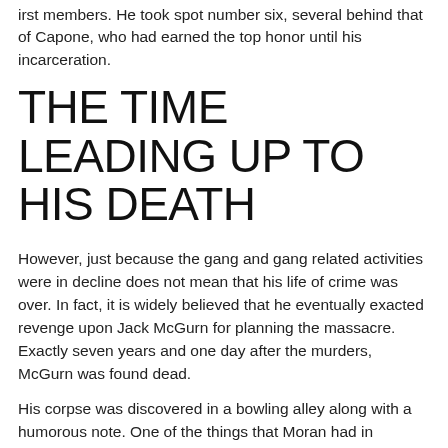irst members. He took spot number six, several behind that of Capone, who had earned the top honor until his incarceration.
THE TIME LEADING UP TO HIS DEATH
However, just because the gang and gang related activities were in decline does not mean that his life of crime was over. In fact, it is widely believed that he eventually exacted revenge upon Jack McGurn for planning the massacre. Exactly seven years and one day after the murders, McGurn was found dead.
His corpse was discovered in a bowling alley along with a humorous note. One of the things that Moran had in common with his late buddy O'Banion was a sense of humor that involved pranks. This type of joke was in line with the type of humor these men loved.